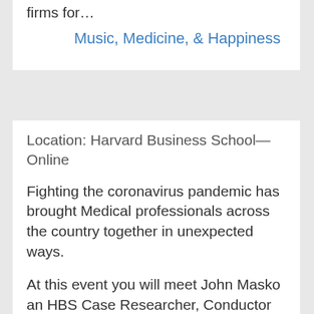firms for…
Music, Medicine, & Happiness
Location: Harvard Business School—Online
Fighting the coronavirus pandemic has brought Medical professionals across the country together in unexpected ways.
At this event you will meet John Masko an HBS Case Researcher, Conductor and Founder of the National Virtual Medical Orchestra (NVMO) , who brought together